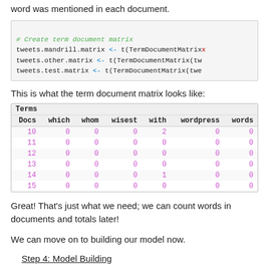word was mentioned in each document.
This is what the term document matrix looks like:
| Terms | which | whom | wisest | with | wordpress | words |
| --- | --- | --- | --- | --- | --- | --- |
| Docs | which | whom | wisest | with | wordpress | words |
| 10 | 0 | 0 | 0 | 2 | 0 | 0 |
| 11 | 0 | 0 | 0 | 0 | 0 | 0 |
| 12 | 0 | 0 | 0 | 0 | 0 | 0 |
| 13 | 0 | 0 | 0 | 0 | 0 | 0 |
| 14 | 0 | 0 | 0 | 1 | 0 | 0 |
| 15 | 0 | 0 | 0 | 0 | 0 | 0 |
Great! That's just what we need; we can count words in documents and totals later!
We can move on to building our model now.
Step 4: Model Building